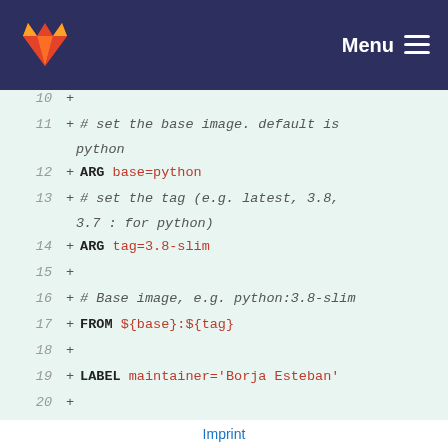GitLab — Menu
[Figure (screenshot): GitLab code diff view showing Dockerfile lines 10-26 with added lines marked with + signs. Lines include ARG, FROM, LABEL instructions with values in red and keywords in bold.]
Imprint